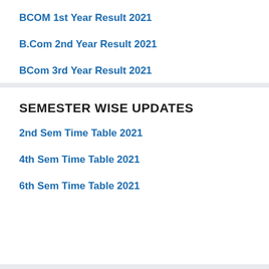BCOM 1st Year Result 2021
B.Com 2nd Year Result 2021
BCom 3rd Year Result 2021
SEMESTER WISE UPDATES
2nd Sem Time Table 2021
4th Sem Time Table 2021
6th Sem Time Table 2021